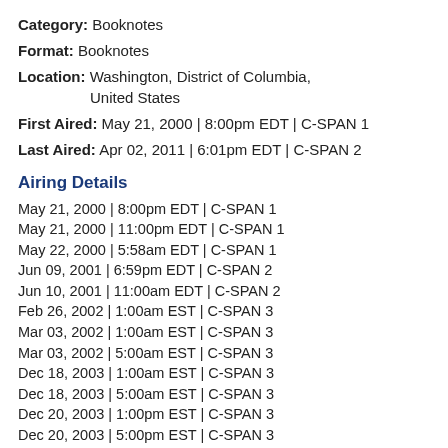Category: Booknotes
Format: Booknotes
Location: Washington, District of Columbia, United States
First Aired: May 21, 2000 | 8:00pm EDT | C-SPAN 1
Last Aired: Apr 02, 2011 | 6:01pm EDT | C-SPAN 2
Airing Details
May 21, 2000 | 8:00pm EDT | C-SPAN 1
May 21, 2000 | 11:00pm EDT | C-SPAN 1
May 22, 2000 | 5:58am EDT | C-SPAN 1
Jun 09, 2001 | 6:59pm EDT | C-SPAN 2
Jun 10, 2001 | 11:00am EDT | C-SPAN 2
Feb 26, 2002 | 1:00am EST | C-SPAN 3
Mar 03, 2002 | 1:00am EST | C-SPAN 3
Mar 03, 2002 | 5:00am EST | C-SPAN 3
Dec 18, 2003 | 1:00am EST | C-SPAN 3
Dec 18, 2003 | 5:00am EST | C-SPAN 3
Dec 20, 2003 | 1:00pm EST | C-SPAN 3
Dec 20, 2003 | 5:00pm EST | C-SPAN 3
May 30, 2009 | 6:00pm EDT | C-SPAN 2